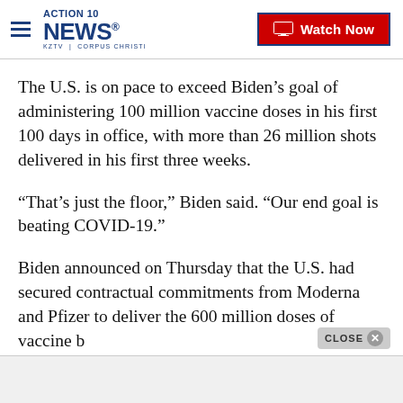ACTION 10 NEWS KZTV | CORPUS CHRISTI — Watch Now
The U.S. is on pace to exceed Biden’s goal of administering 100 million vaccine doses in his first 100 days in office, with more than 26 million shots delivered in his first three weeks.
“That’s just the floor,” Biden said. “Our end goal is beating COVID-19.”
Biden announced on Thursday that the U.S. had secured contractual commitments from Moderna and Pfizer to deliver the 600 million doses of vaccine b